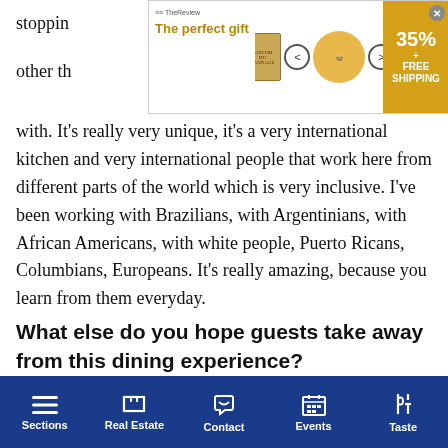[Figure (other): Advertisement banner: 'The perfect gift' with book and bowl images, navigation arrows, and a yellow/gold badge showing 35% + FREE SHIPPING with close button]
stopping out other than people that work with. It's really very unique, it's a very international kitchen and very international people that work here from different parts of the world which is very inclusive. I've been working with Brazilians, with Argentinians, with African Americans, with white people, Puerto Ricans, Columbians, Europeans. It's really amazing, because you learn from them everyday.
What else do you hope guests take away from this dining experience?
So I just hope that they get a sense of who I am, and what I'm trying to do. My culinary point of view is to present fresh, healthy food that is enjoyable. I just want [my guests]
Sections   Real Estate   Contact   Events   Taste